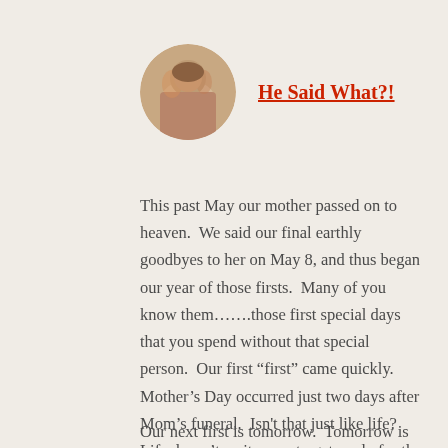[Figure (photo): Circular avatar photo of a person, appears to be a woman in a floral or colorful setting]
He Said What?!
This past May our mother passed on to heaven.  We said our final earthly goodbyes to her on May 8, and thus began our year of those firsts.  Many of you know them…….those first special days that you spend without that special person.  Our first “first” came quickly.  Mother’s Day occurred just two days after Mom’s funeral.  Isn't that just like life?  Life doesn’t wait on us to get ready for the things that are hard.  They happen whether we’re ready or not.
Our next first is tomorrow.  Tomorrow is